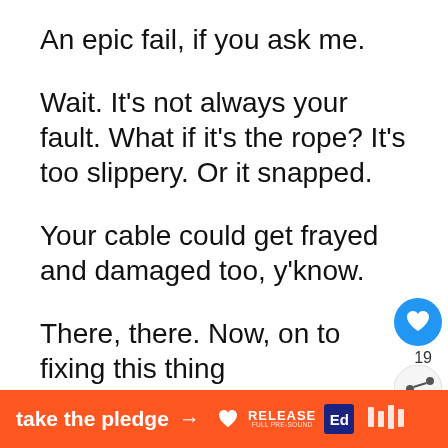An epic fail, if you ask me.
Wait. It's not always your fault. What if it's the rope? It's too slippery. Or it snapped.
Your cable could get frayed and damaged too, y'know.
There, there. Now, on to fixing this thing
Put your HDMI cable where it
Go to the back of your Samsung Smart
[Figure (screenshot): UI overlay with heart/like button showing count 19, share button, and a 'What's Next' widget showing Samsung TV thumbnail]
[Figure (screenshot): Orange advertisement bar at bottom: 'take the pledge →' with RELEASE and other brand logos]